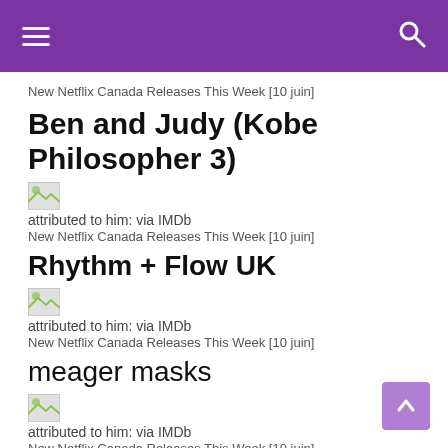☰  🔍
New Netflix Canada Releases This Week [10 juin]
Ben and Judy (Kobe Philosopher 3)
[Figure (photo): Broken/missing image placeholder thumbnail]
attributed to him: via IMDb
New Netflix Canada Releases This Week [10 juin]
Rhythm + Flow UK
[Figure (photo): Broken/missing image placeholder thumbnail]
attributed to him: via IMDb
New Netflix Canada Releases This Week [10 juin]
meager masks
[Figure (photo): Broken/missing image placeholder thumbnail]
attributed to him: via IMDb
New Netflix Canada Releases This Week [10 juin]